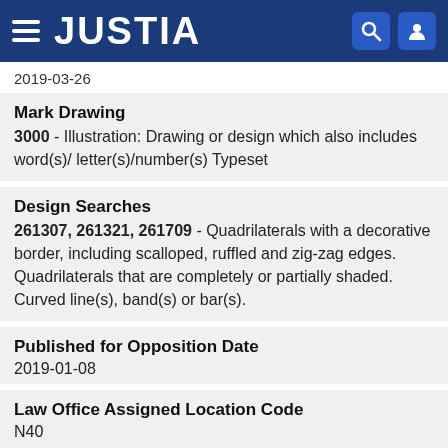JUSTIA
2019-03-26
Mark Drawing
3000 - Illustration: Drawing or design which also includes word(s)/ letter(s)/number(s) Typeset
Design Searches
261307, 261321, 261709 - Quadrilaterals with a decorative border, including scalloped, ruffled and zig-zag edges. Quadrilaterals that are completely or partially shaded. Curved line(s), band(s) or bar(s).
Published for Opposition Date
2019-01-08
Law Office Assigned Location Code
N40